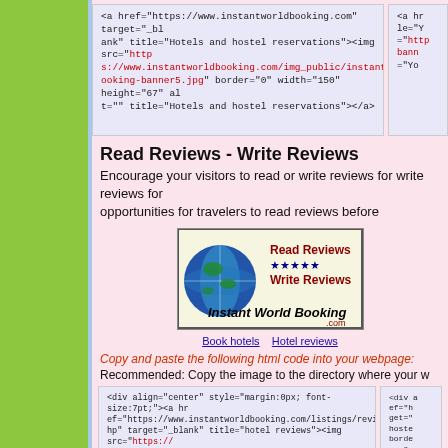<a href="https://www.instantworldbooking.com" target="_blank" title="Hotels and hostel reservations"><img src="https://www.instantworldbooking.com/img_public/instantworldbooking-banner5.jpg" border="0" width="150" height="67" alt="" title="Hotels and hostel reservations"></a>
Read Reviews - Write Reviews
Encourage your visitors to read or write reviews for opportunities for travelers to read reviews before
[Figure (illustration): Instant World Booking banner showing a globe with Read Reviews, Write Reviews text and stars]
Book hotels   Hotel reviews
Copy and paste the following html code into your webpage:
Recommended: Copy the image to the directory where your w
<div align="center" style="margin:0px; font-size:7pt;"><a href="https://www.instantworldbooking.com/listings/reviews.php" target="_blank" title="hotel reviews"><img src="https://www.instantworldbooking.com/img_public/instantworldbooking-banner6.jpg" border="0" width="149" height="60" alt="" title="hotel reviews"></a><br clear="all"><a href="https://www.instantworldbooking.com" target="_blank" title="Hotels and hostel reservations" style="font-family:Arial;">Book hotels</a>&nbsp;&nbsp;<a href="https://www.instantworldbooking.com/reviews/search_reviews.php" target="_blank" title="Read reviews" style="font-family:Arial;">Hotel reviews</a></div>
Simple Banner Link 1